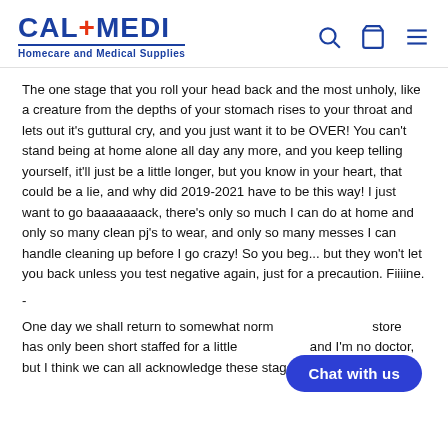CAL+MEDI Homecare and Medical Supplies
The one stage that you roll your head back and the most unholy, like a creature from the depths of your stomach rises to your throat and lets out it's guttural cry, and you just want it to be OVER! You can't stand being at home alone all day any more, and you keep telling yourself, it'll just be a little longer, but you know in your heart, that could be a lie, and why did 2019-2021 have to be this way! I just want to go baaaaaaack, there's only so much I can do at home and only so many clean pj's to wear, and only so many messes I can handle cleaning up before I go crazy! So you beg... but they won't let you back unless you test negative again, just for a precaution. Fiiiine.
-
One day we shall return to somewhat norm... store has only been short staffed for a little... and I'm no doctor, but I think we can all acknowledge these stages in